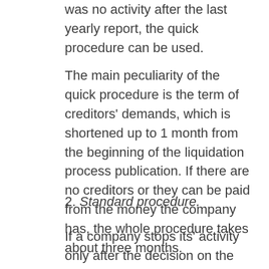was no activity after the last yearly report, the quick procedure can be used.
The main peculiarity of the quick procedure is the term of creditors' demands, which is shortened up to 1 month from the beginning of the liquidation process publication. If there are no creditors or they can be paid from the money the company has, the whole procedure takes about three months.
2. Standard procedure.
If a company stops its' activity only after the decision on the liquidation is made, the